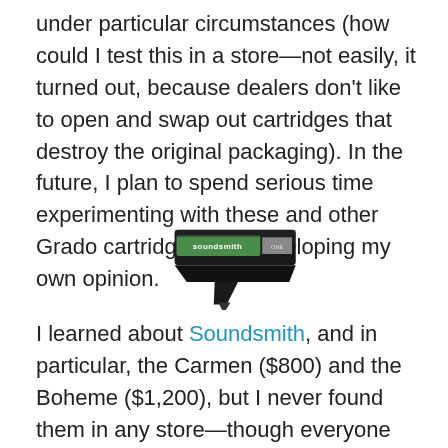under particular circumstances (how could I test this in a store—not easily, it turned out, because dealers don't like to open and swap out cartridges that destroy the original packaging). In the future, I plan to spend serious time experimenting with these and other Grado cartridges and developing my own opinion.
[Figure (photo): Photo of a Soundsmith phono cartridge with green and black body, showing the stylus at the bottom.]
I learned about Soundsmith, and in particular, the Carmen ($800) and the Boheme ($1,200), but I never found them in any store—though everyone talked about how great Soundsmith might be for my situation. I learned about matching a particular cartridge to a particular phono pre-